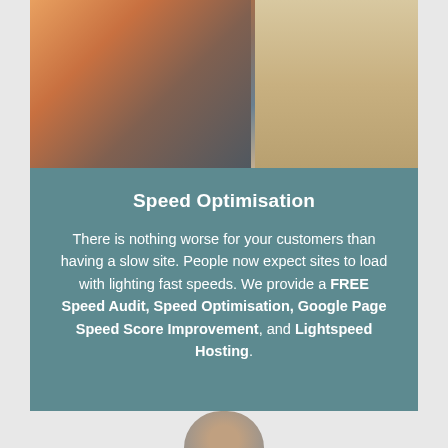[Figure (photo): Two people sitting on a couch/bench in conversation; one wearing an orange top, the other a dark sweater. Split composition with a lighter neutral background on the right side.]
Speed Optimisation
There is nothing worse for your customers than having a slow site. People now expect sites to load with lighting fast speeds. We provide a FREE Speed Audit, Speed Optimisation, Google Page Speed Score Improvement, and Lightspeed Hosting.
[Figure (photo): Partial view of a person photo at the bottom of the page, cropped.]